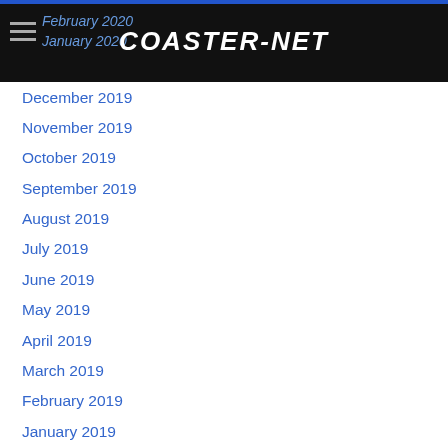COASTER-NET
February 2020
January 2020
December 2019
November 2019
October 2019
September 2019
August 2019
July 2019
June 2019
May 2019
April 2019
March 2019
February 2019
January 2019
December 2018
November 2018
October 2018
September 2018
August 2018